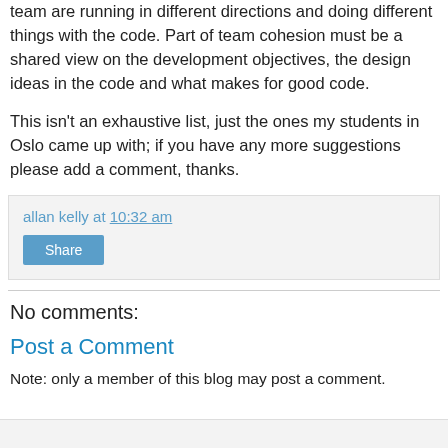team are running in different directions and doing different things with the code. Part of team cohesion must be a shared view on the development objectives, the design ideas in the code and what makes for good code.
This isn't an exhaustive list, just the ones my students in Oslo came up with; if you have any more suggestions please add a comment, thanks.
allan kelly at 10:32 am
No comments:
Post a Comment
Note: only a member of this blog may post a comment.